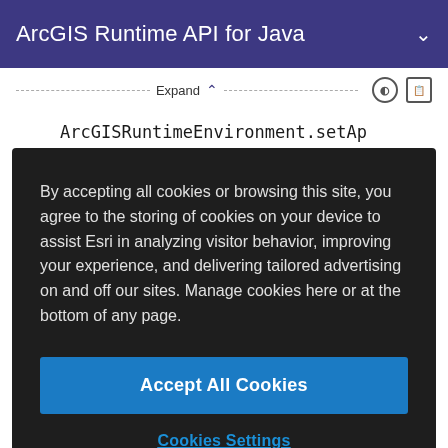ArcGIS Runtime API for Java
Expand
ArcGISRuntimeEnvironment.setAp
By accepting all cookies or browsing this site, you agree to the storing of cookies on your device to assist Esri in analyzing visitor behavior, improving your experience, and delivering tailored advertising on and off our sites. Manage cookies here or at the bottom of any page.
Accept All Cookies
Cookies Settings
});